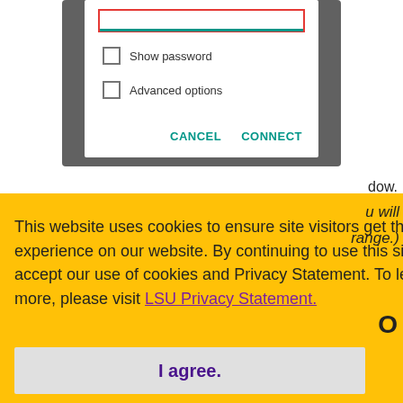[Figure (screenshot): Android Wi-Fi dialog box with password field (red border, teal underline), Show password checkbox, Advanced options checkbox, and CANCEL / CONNECT buttons in teal]
dow.
This website uses cookies to ensure site visitors get the best experience on our website. By continuing to use this site, you accept our use of cookies and Privacy Statement. To learn more, please visit LSU Privacy Statement.
u will
range.)
O
I agree.
Please note, you should only follow this procedure if